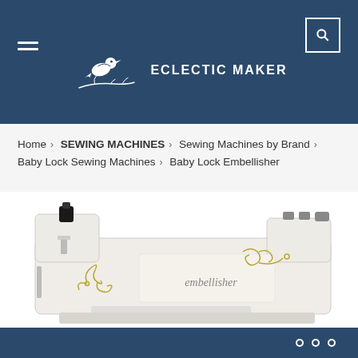ECLECTIC MAKER
Home > SEWING MACHINES > Sewing Machines by Brand > Baby Lock Sewing Machines > Baby Lock Embellisher
[Figure (photo): Side view of a Baby Lock Embellisher sewing machine, white/cream colored with decorative gold scrollwork and 'embellisher' text on the body]
o o o